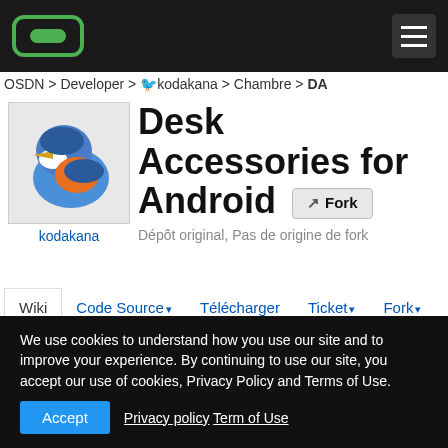OSDN > Developer > kodakana > Chambre > DA
Desk Accessories for Android
kodakana
Dépôt original, Pas de origine de fork
Wiki  Code Source  Télécharger  Ticket  Fork
Activités  Autres chambres (8)
edit | Title Index | Recent Changes
Desk Accessories for Android
We use cookies to understand how you use our site and to improve your experience. By continuing to use our site, you accept our use of cookies, Privacy Policy and Terms of Use.
Accept  Privacy policy  Term of Use
Ticket